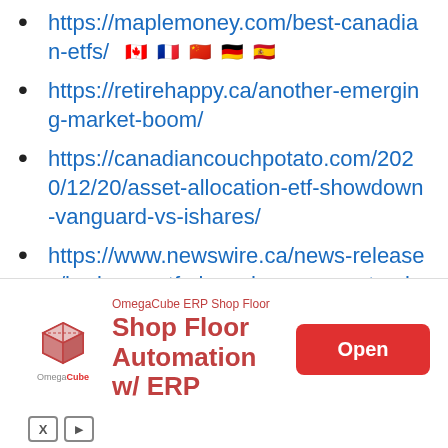https://maplemoney.com/best-canadian-etfs/
https://retirehappy.ca/another-emerging-market-boom/
https://canadiancouchpotato.com/2020/12/20/asset-allocation-etf-showdown-vanguard-vs-ishares/
https://www.newswire.ca/news-releases/horizons-etfs-launches-corporate-class-emerging-markets-etf-854235415.html
https://www.savvynewcanadians.com/best-etfs-canada/
https://findependencehub.com/franklin-
[Figure (screenshot): Advertisement banner for OmegaCube ERP Shop Floor showing logo, 'Shop Floor Automation w/ ERP' text in red, and an Open button]